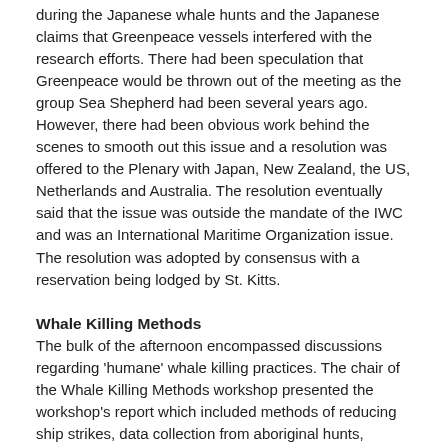during the Japanese whale hunts and the Japanese claims that Greenpeace vessels interfered with the research efforts. There had been speculation that Greenpeace would be thrown out of the meeting as the group Sea Shepherd had been several years ago. However, there had been obvious work behind the scenes to smooth out this issue and a resolution was offered to the Plenary with Japan, New Zealand, the US, Netherlands and Australia. The resolution eventually said that the issue was outside the mandate of the IWC and was an International Maritime Organization issue. The resolution was adopted by consensus with a reservation being lodged by St. Kitts.
Whale Killing Methods
The bulk of the afternoon encompassed discussions regarding 'humane' whale killing practices. The chair of the Whale Killing Methods workshop presented the workshop's report which included methods of reducing ship strikes, data collection from aboriginal hunts, efficient whale killing, and reducing the time of death. Notably the US, after reiterating the importance of hunter safety for the aboriginal subsistence whalers, welcomed the work done on time of death and the